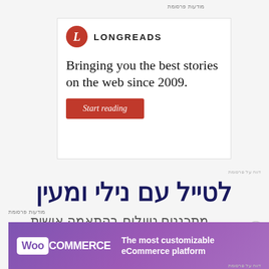מודעות פרסומת
[Figure (advertisement): Longreads advertisement with red circular logo, tagline 'Bringing you the best stories on the web since 2009.' and red 'Start reading' button]
דווח על פרסומת
לטייל עם נילי ומעין
מתכננים טיולים בהתאמה אישית
מודעות פרסומת
[Figure (advertisement): WooCommerce banner advertisement: purple gradient background with WooCommerce logo and text 'The most customizable eCommerce platform']
דווח על פרסומת